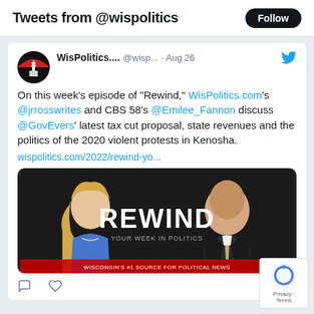Tweets from @wispolitics
WisPolitics.... @wisp... · Aug 26
On this week's episode of “Rewind,” WisPolitics.com’s @jrrosswrites and CBS 58’s @Emilee_Fannon discuss @GovEvers’ latest tax cut proposal, state revenues and the politics of the 2020 violent protests in Kenosha.
wispolitics.com/2022/rewind-yo...
[Figure (photo): TV show thumbnail featuring a blonde woman in a blue top on the left and a bald man in a suit on the right, with the word REWIND in large white letters in the center against a dark background.]
Privacy · Terms